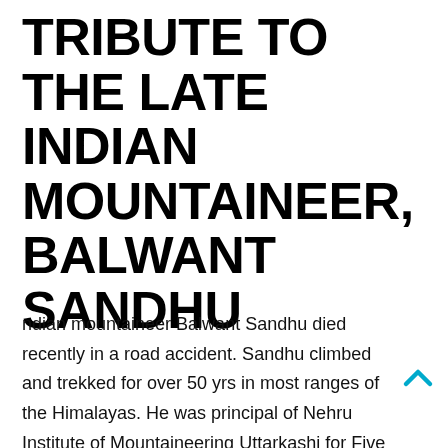TRIBUTE TO THE LATE INDIAN MOUNTAINEER, BALWANT SANDHU
ndian mountaineer Balwant Sandhu died recently in a road accident. Sandhu climbed and trekked for over 50 yrs in most ranges of the Himalayas. He was principal of Nehru Institute of Mountaineering Uttarkashi for Five years (1980-85). He was president of the Himalayan Club [1983-84) and Vice President of the Indian Mountaineering Foundation (197-98). He was a life member of the Central Himalayan Environment Association, the